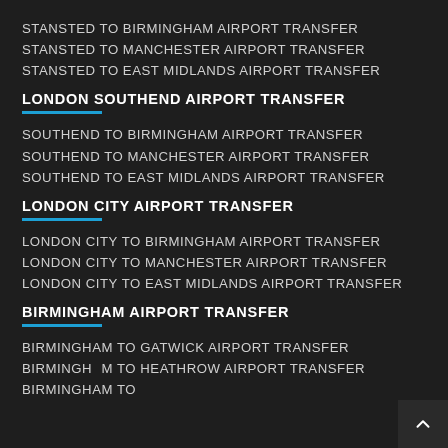STANSTED TO BIRMINGHAM AIRPORT TRANSFER STANSTED TO MANCHESTER AIRPORT TRANSFER STANSTED TO EAST MIDLANDS AIRPORT TRANSFER
LONDON SOUTHEND AIRPORT TRANSFER
SOUTHEND TO BIRMINGHAM AIRPORT TRANSFER SOUTHEND TO MANCHESTER AIRPORT TRANSFER SOUTHEND TO EAST MIDLANDS AIRPORT TRANSFER
LONDON CITY AIRPORT TRANSFER
LONDON CITY TO BIRMINGHAM AIRPORT TRANSFER LONDON CITY TO MANCHESTER AIRPORT TRANSFER LONDON CITY TO EAST MIDLANDS AIRPORT TRANSFER
BIRMINGHAM AIRPORT TRANSFER
BIRMINGHAM TO GATWICK AIRPORT TRANSFER BIRMINGHAM TO HEATHROW AIRPORT TRANSFER BIRMINGHAM TO